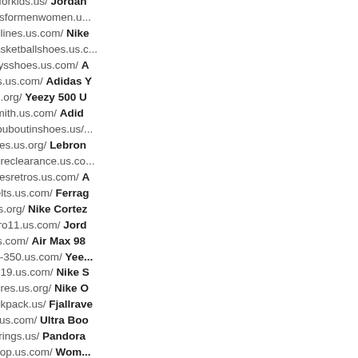https://www.jordanshoesforkids.us/ Jordan
https://www.runningshoesformenwomen.u...
https://www.nikeshoesonlines.us.com/ Nike
https://www.kyrieirvingbasketballshoes.us.c...
https://www.adidas-yeezysshoes.us.com/ A
https://www.yeezyshoess.us.com/ Adidas Y
https://www.yeezy500.us.org/ Yeezy 500 U
https://www.adidastan-smith.us.com/ Adid
https://www.redbottomslouboutinshoes.us/...
https://www.lebron16shoes.us.org/ Lebron
https://www.nikeoutletstoreclearance.us.co...
https://www.airjordanshoesretros.us.com/ A
https://www.ferragamobelts.us.com/ Ferrag
https://www.nikecortez.us.org/ Nike Cortez
https://www.airjordan-retro11.us.com/ Jord
https://www.airmax-98.us.com/ Air Max 98
https://www.yeezyboosts-350.us.com/ Yee...
https://www.nikeshoes2019.us.com/ Nike S
https://www.nikeoutletstores.us.org/ Nike O
https://www.fjallravenbackpack.us/ Fjallrave
https://www.ultra-boosts.us.com/ Ultra Boo
https://www.pandora-earrings.us/ Pandora
https://www.nikeshoesshop.us.com/ Wom...